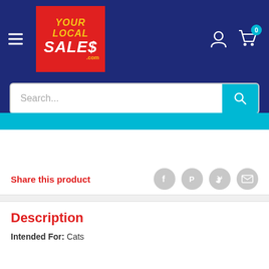[Figure (logo): YOUR LOCAL SALES .com logo — red background, yellow italic text for YOUR LOCAL, white italic text for SALES, yellow .com]
Search...
Share this product
Description
Intended For: Cats